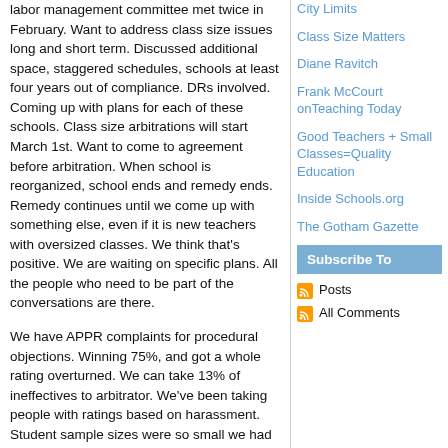labor management committee met twice in February. Want to address class size issues long and short term. Discussed additional space, staggered schedules, schools at least four years out of compliance. DRs involved. Coming up with plans for each of these schools. Class size arbitrations will start March 1st. Want to come to agreement before arbitration. When school is reorganized, school ends and remedy ends. Remedy continues until we come up with something else, even if it is new teachers with oversized classes. We think that’s positive. We are waiting on specific plans. All the people who need to be part of the conversations are there.
We have APPR complaints for procedural objections. Winning 75%, and got a whole rating overturned. We can take 13% of ineffectives to arbitrator. We’ve been taking people with ratings based on harassment. Student sample sizes were so small we had them based on 3 kids. They were taken care of. If you have fewer than 6 kids, 23 teachers changed, without a hearing.
Para suspension arbitration is happening. Number of people not being suspended who should be...
City Limits
Class Size Matters
Diane Ravitch
Frank McCourt onTeaching Today
Good Teachers + Small Classes=Quality Education
Inside Schools.org
The Gotham Gazette
Subscribe To
Posts
All Comments